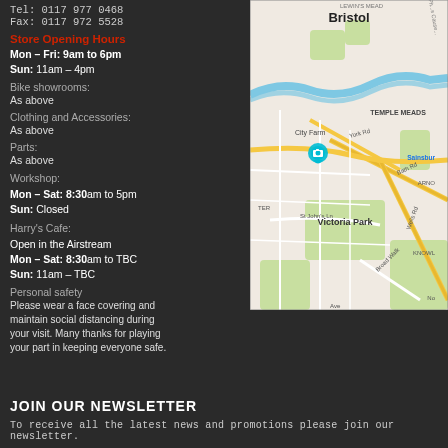Tel: 0117 977 0468
Fax: 0117 972 5528
Store Opening Hours
Mon - Fri: 9am to 6pm
Sun: 11am - 4pm
Bike showrooms:
As above
Clothing and Accessories:
As above
Parts:
As above
Workshop:
Mon - Sat: 8:30am to 5pm
Sun: Closed
Harry's Cafe:
Open in the Airstream
Mon - Sat: 8:30am to TBC
Sun: 11am - TBC
Personal safety
Please wear a face covering and maintain social distancing during your visit. Many thanks for playing your part in keeping everyone safe.
[Figure (map): Google Maps screenshot showing Bristol city centre area, with a location pin near Victoria Park, showing Temple Meads, St John's Ln, Broad Walk, Bath Rd, Wells Rd, York Rd, and Sainsbury's visible]
JOIN OUR NEWSLETTER
To receive all the latest news and promotions please join our newsletter.